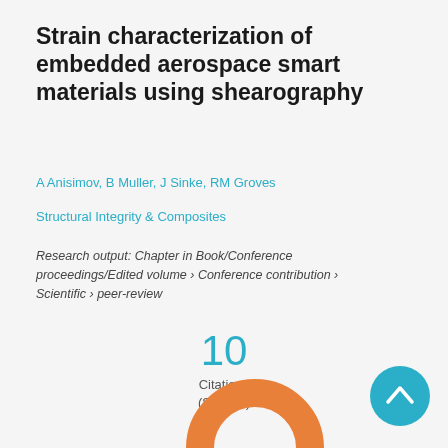Strain characterization of embedded aerospace smart materials using shearography
A Anisimov, B Muller, J Sinke, RM Groves
Structural Integrity & Composites
Research output: Chapter in Book/Conference proceedings/Edited volume › Conference contribution › Scientific › peer-review
10 Citations (Scopus)
[Figure (other): Scroll-to-top button (teal circle with upward chevron) and partial orange donut/arc shape at bottom of page]